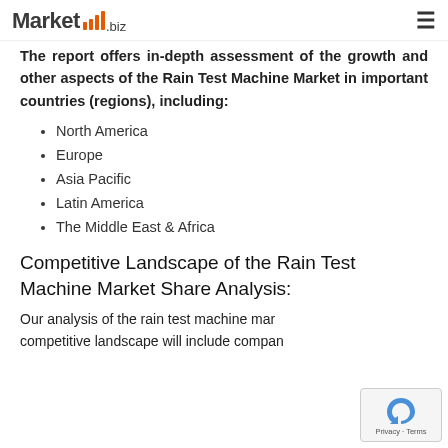Market.biz
The report offers in-depth assessment of the growth and other aspects of the Rain Test Machine Market in important countries (regions), including:
North America
Europe
Asia Pacific
Latin America
The Middle East & Africa
Competitive Landscape of the Rain Test Machine Market Share Analysis:
Our analysis of the rain test machine mar... competitive landscape will include company t...